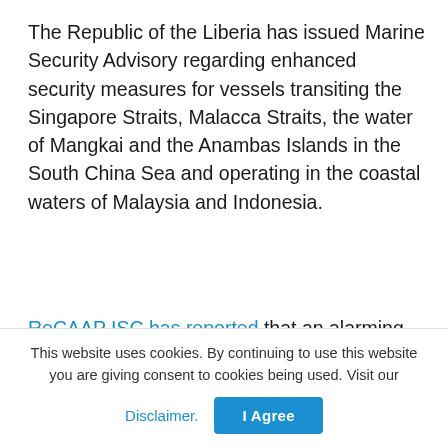The Republic of the Liberia has issued Marine Security Advisory regarding enhanced security measures for vessels transiting the Singapore Straits, Malacca Straits, the water of Mangkai and the Anambas Islands in the South China Sea and operating in the coastal waters of Malaysia and Indonesia.
ReCAAP ISC has reported that an alarming number of significant incidents in Southeast Asian waters have taken place over the past year. Theseincidents involve siphoning of marine gas oil/marine diesel oil, robbery of scrap metal and pettytheft. In these incidents, the pirates/robbers appeared to be well organized and
This website uses cookies. By continuing to use this website you are giving consent to cookies being used. Visit our
Disclaimer.  I Agree